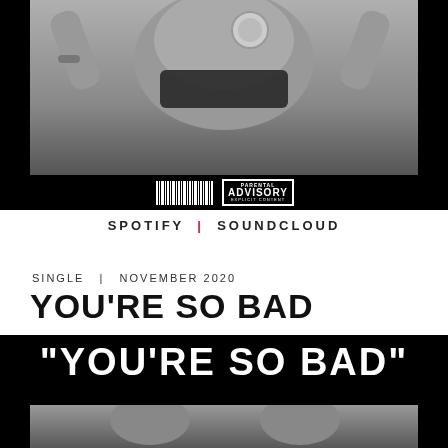[Figure (photo): Black and white photo of a woman in a black bra with a medallion necklace, arms raised, torso visible, on a black background with a barcode and Parental Advisory Explicit Content label]
SPOTIFY | SOUNDCLOUD
SINGLE | NOVEMBER 2020
YOU'RE SO BAD
[Figure (photo): Black background with large bold white text "YOU'RE SO BAD" and black and white photos of people below]